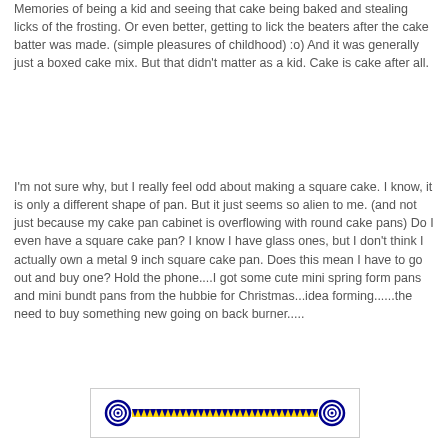Memories of being a kid and seeing that cake being baked and stealing licks of the frosting.  Or even better, getting to lick the beaters after the cake batter was made. (simple pleasures of childhood)  :o)  And it was generally just a boxed cake mix.  But that didn't matter as a kid.  Cake is cake after all.
I'm not sure why, but I really feel odd about making a square cake.  I know, it is only a different shape of pan.  But it just seems so alien to me.  (and not just because my cake pan cabinet is overflowing with round cake pans)  Do I even have a square cake pan?  I know I have glass ones, but I don't think I actually own a metal 9 inch square cake pan.  Does this mean I have to go out and buy one?   Hold the phone....I got some cute mini spring form pans and mini bundt pans from the hubbie for Christmas...idea forming......the need to buy something new going on back burner.....
[Figure (illustration): Decorative divider with blue spiral ends and a zigzag blue and yellow pattern in the middle on a white background with light border]